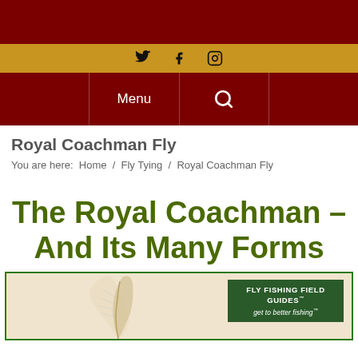Twitter / Facebook / Instagram
Menu / Search
Royal Coachman Fly
You are here:  Home  /  Fly Tying  /  Royal Coachman Fly
The Royal Coachman – And Its Many Forms
[Figure (photo): Photo of Royal Coachman fly fishing fly with Fly Fishing Field Guides badge overlay]